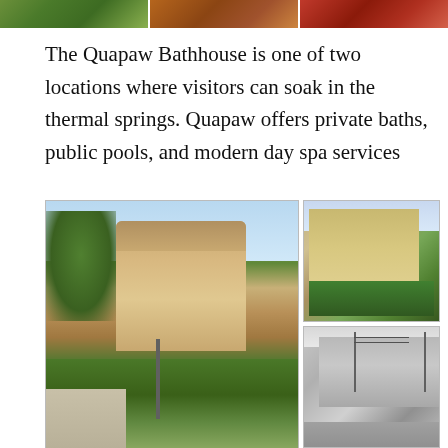[Figure (photo): Three cropped photos in a horizontal strip at the top: left shows green foliage/plants, middle shows a brown/tan textured surface, right shows a reddish-brown surface]
The Quapaw Bathhouse is one of two locations where visitors can soak in the thermal springs. Quapaw offers private baths, public pools, and modern day spa services
[Figure (photo): Large photo on the left showing the exterior of the Quapaw Bathhouse building with green hedges and sidewalk in the foreground. Top-right photo shows a closer view of the bathhouse facade with green lawn and a sign. Bottom-right photo is a black-and-white historical photograph of what appears to be the same building.]